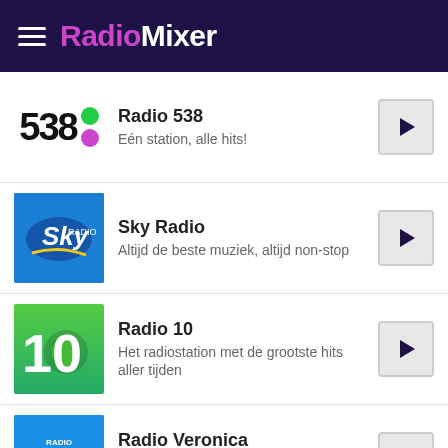RadioMixer
Radio 538 — Eén station, alle hits!
Sky Radio — Altijd de beste muziek, altijd non-stop
Radio 10 — Het radiostation met de grootste hits aller tijden
Radio Veronica — Het station met alleen maar échte muziek